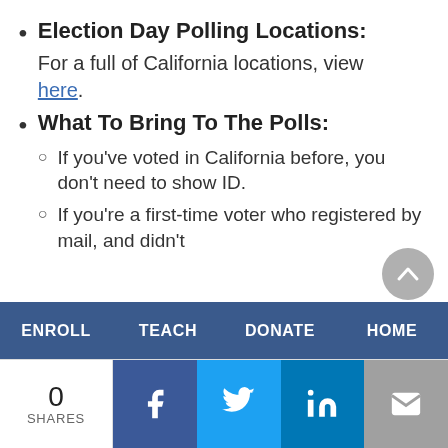Election Day Polling Locations: For a full of California locations, view here.
What To Bring To The Polls:
If you've voted in California before, you don't need to show ID.
If you're a first-time voter who registered by mail, and didn't
ENROLL  TEACH  DONATE  HOME
0 SHARES  Facebook  Twitter  LinkedIn  Email